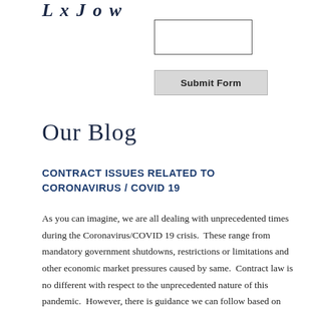[Figure (other): Partial logo text in italic serif font, appears to be a law firm or legal service logo]
[Figure (other): Empty rectangular input form field]
Submit Form
Our Blog
CONTRACT ISSUES RELATED TO CORONAVIRUS / COVID 19
As you can imagine, we are all dealing with unprecedented times during the Coronavirus/COVID 19 crisis.  These range from mandatory government shutdowns, restrictions or limitations and other economic market pressures caused by same.  Contract law is no different with respect to the unprecedented nature of this pandemic.  However, there is guidance we can follow based on common law contract